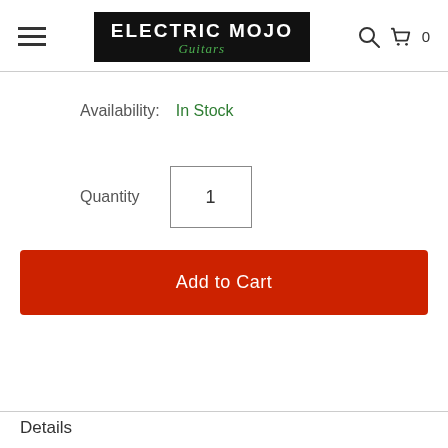Electric Mojo Guitars — navigation header with hamburger menu, logo, search and cart icons
Availability: In Stock
Quantity: 1
Add to Cart
Details